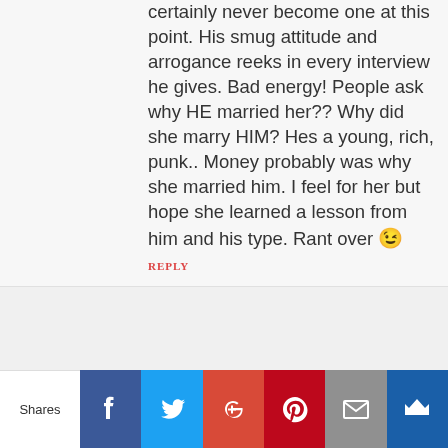certainly never become one at this point. His smug attitude and arrogance reeks in every interview he gives. Bad energy! People ask why HE married her?? Why did she marry HIM? Hes a young, rich, punk.. Money probably was why she married him. I feel for her but hope she learned a lesson from him and his type. Rant over 😉
REPLY
Melissa
AUGUST 27, 2012 AT 1:22 PM
I totally agree, kids need both parents. And man this breaks my heart. This woman has lost a child in accident and
Shares